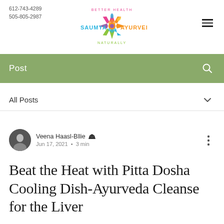612-743-4289
505-805-2987
[Figure (logo): Saumya Ayurveda logo with colorful mandala flower and text 'Better Health Naturally']
Post
All Posts
Veena Haasl-Bllie  Admin
Jun 17, 2021 · 3 min
Beat the Heat with Pitta Dosha Cooling Dish-Ayurveda Cleanse for the Liver